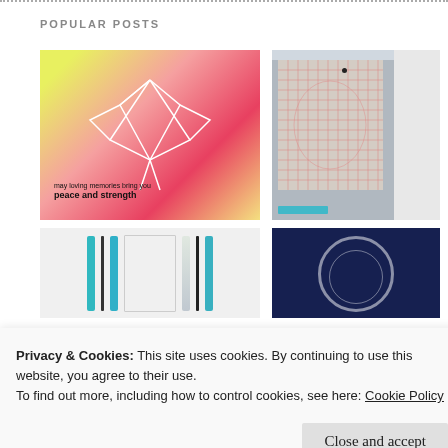POPULAR POSTS
[Figure (photo): Craft card with floral/colorful background and white geometric origami crane lines, text reading 'may loving memories bring you peace and strength']
[Figure (screenshot): Software application screenshot showing a cutting machine design grid with pink grid lines on a cutting mat, panel on right side]
[Figure (photo): Partial image showing craft pens or markers lined up vertically]
[Figure (photo): Dark navy blue image with circular design element]
Privacy & Cookies: This site uses cookies. By continuing to use this website, you agree to their use.
To find out more, including how to control cookies, see here: Cookie Policy
Close and accept